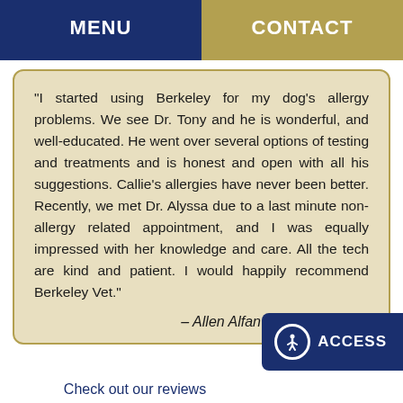MENU   CONTACT
“I started using Berkeley for my dog’s allergy problems. We see Dr. Tony and he is wonderful, and well-educated. He went over several options of testing and treatments and is honest and open with all his suggestions. Callie’s allergies have never been better. Recently, we met Dr. Alyssa due to a last minute non-allergy related appointment, and I was equally impressed with her knowledge and care. All the tech are kind and patient. I would happily recommend Berkeley Vet.”
– Allen Alfan...
Check out our reviews